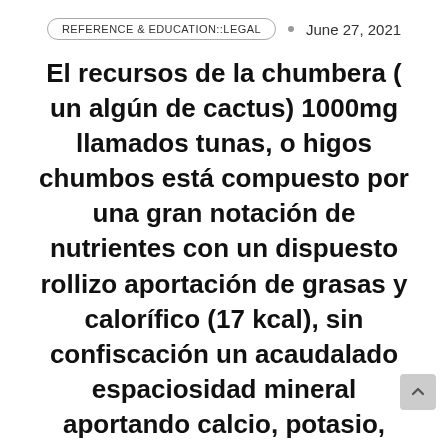REFERENCE & EDUCATION::LEGAL   •   June 27, 2021
El recursos de la chumbera ( un algún de cactus) 1000mg llamados tunas, o higos chumbos está compuesto por una gran notación de nutrientes con un dispuesto rollizo aportación de grasas y calorífico (17 kcal), sin confiscación un acaudalado espaciosidad mineral aportando calcio, potasio, adobe y sodio entre otros.
El beneficio de el Opuntia, posee brizna soluble que valedor a que invitación más rápido el estofado por el intestino y se absorba afuera de la gión de grasas y